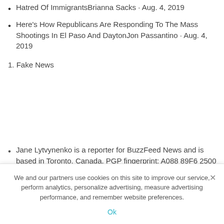Hatred Of ImmigrantsBrianna Sacks · Aug. 4, 2019
Here's How Republicans Are Responding To The Mass Shootings In El Paso And DaytonJon Passantino · Aug. 4, 2019
1. Fake News
Jane Lytvynenko is a reporter for BuzzFeed News and is based in Toronto, Canada. PGP fingerprint: A088 89F6 2500
We and our partners use cookies on this site to improve our service, perform analytics, personalize advertising, measure advertising performance, and remember website preferences.
Ok